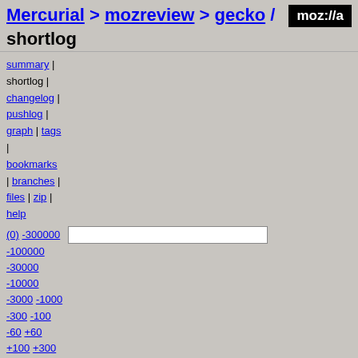Mercurial > mozreview > gecko / shortlog
summary | shortlog | changelog | pushlog | graph | tags | bookmarks | branches | files | zip | help
(0) -300000 -100000 -30000 -10000 -3000 -1000 -300 -100 -60 +60 +100 +300 +1000 +3000 +10000 +30000 +100000 tip
diff browse 54a61804344d665bac49939dc98bdc3a7020e92f 2017-04-09 Mike Conley - Bug ... for View Source in ...